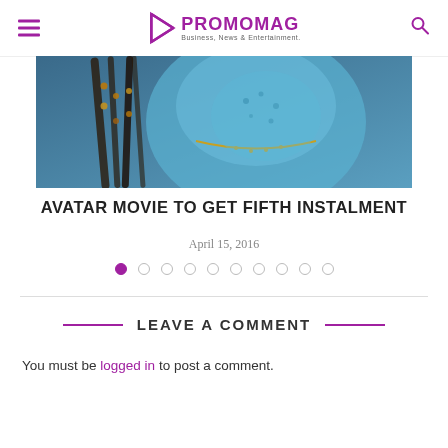PROMOMAG — Business, News & Entertainment
[Figure (photo): Close-up photo of a blue-skinned Avatar Na'vi character with braided hair and beaded jewelry]
AVATAR MOVIE TO GET FIFTH INSTALMENT
April 15, 2016
LEAVE A COMMENT
You must be logged in to post a comment.